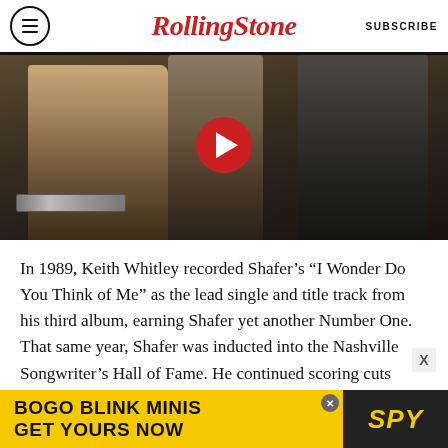RollingStone | SUBSCRIBE
[Figure (photo): Video thumbnail showing musicians performing on stage. A man plays keyboard on the left, two other performers stand center and right. A YouTube play button (red circle with white triangle) is overlaid in the center.]
In 1989, Keith Whitley recorded Shafer’s “I Wonder Do You Think of Me” as the lead single and title track from his third album, earning Shafer yet another Number One. That same year, Shafer was inducted into the Nashville Songwriter’s Hall of Fame. He continued scoring cuts through the 1990s, with artists such as Joe Diffie, Kenny Chesney and John Michael Montgomery
[Figure (other): Advertisement banner: BOGO BLINK MINIS GET YOURS NOW with SPY logo on yellow background]